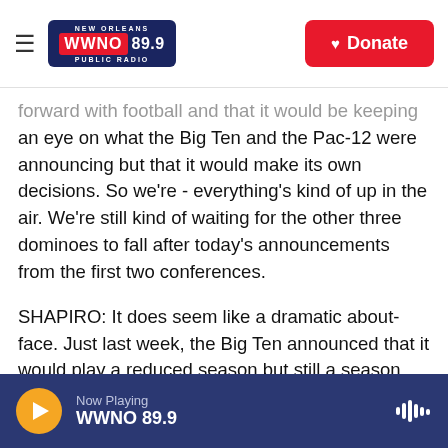NEW ORLEANS WWNO 89.9 PUBLIC RADIO | Donate
forward with football and that it would be keeping an eye on what the Big Ten and the Pac-12 were announcing but that it would make its own decisions. So we're - everything's kind of up in the air. We're still kind of waiting for the other three dominoes to fall after today's announcements from the first two conferences.
SHAPIRO: It does seem like a dramatic about-face. Just last week, the Big Ten announced that it would play a reduced season but still a season.
DAVIDSON: So this is the biggest question I think is exactly what changed? It's been six days since the
Now Playing WWNO 89.9